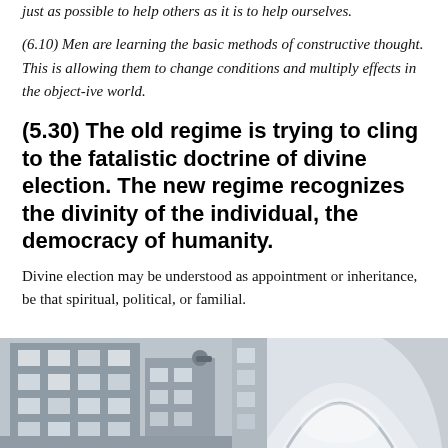just as possible to help others as it is to help ourselves.
(6.10) Men are learning the basic methods of constructive thought. This is allowing them to change conditions and multiply effects in the object-ive world.
(5.30) The old regime is trying to cling to the fatalistic doctrine of divine election. The new regime recognizes the divinity of the individual, the democracy of humanity.
Divine election may be understood as appointment or inheritance, be that spiritual, political, or familial.
[Figure (photo): Two photographs side by side: left shows a multi-story building facade with windows; right shows a curved architectural element or structure, both in muted gray tones.]